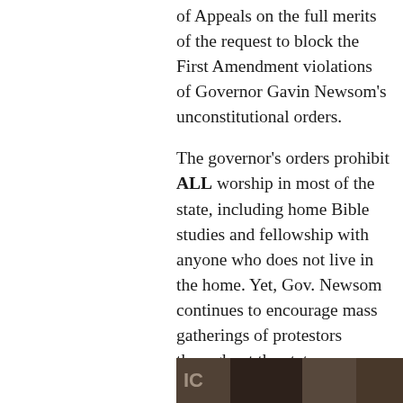of Appeals on the full merits of the request to block the First Amendment violations of Governor Gavin Newsom's unconstitutional orders.
The governor's orders prohibit ALL worship in most of the state, including home Bible studies and fellowship with anyone who does not live in the home. Yet, Gov. Newsom continues to encourage mass gatherings of protestors throughout the state.
The 2–1 ruling last Thursday was only on the emergency injunction pending appeal. This brief now presents the merits of the preliminary injunction to the Court, which will later hear arguments on the case.
[Figure (photo): Partial photo strip at bottom of page, showing a dark/sepia-toned image, partially visible.]